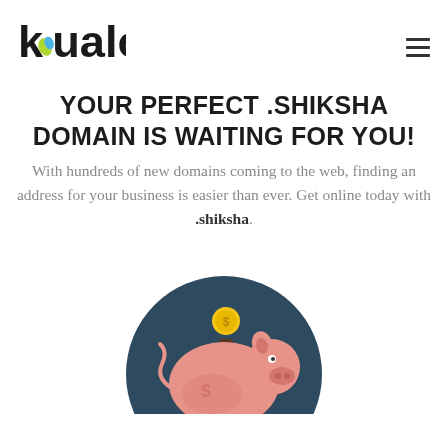kualo
YOUR PERFECT .SHIKSHA DOMAIN IS WAITING FOR YOU!
With hundreds of new domains coming to the web, finding an address for your business is easier than ever. Get online today with .shiksha.
[Figure (illustration): A piggy bank illustration on a dark teal circular background, with a gold coin above the slot on top of the pink pig, and a dollar sign on the body. The circle is partially cut off at the bottom of the page.]